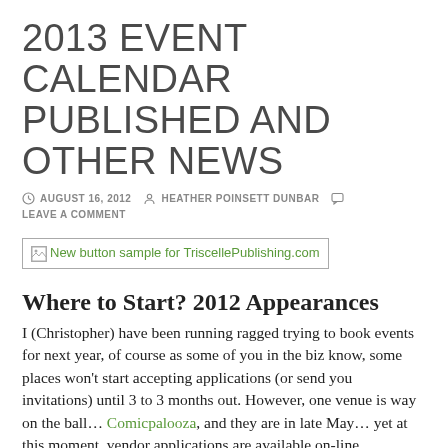2013 EVENT CALENDAR PUBLISHED AND OTHER NEWS
AUGUST 16, 2012  HEATHER POINSETT DUNBAR  LEAVE A COMMENT
[Figure (other): Broken image placeholder with alt text: New button sample for TriscellePublishing.com]
Where to Start? 2012 Appearances
I (Christopher) have been running ragged trying to book events for next year, of course as some of you in the biz know, some places won't start accepting applications (or send you invitations) until 3 to 3 months out. However, one venue is way on the ball… Comicpalooza, and they are in late May… yet at this moment, vendor applications are available on-line.